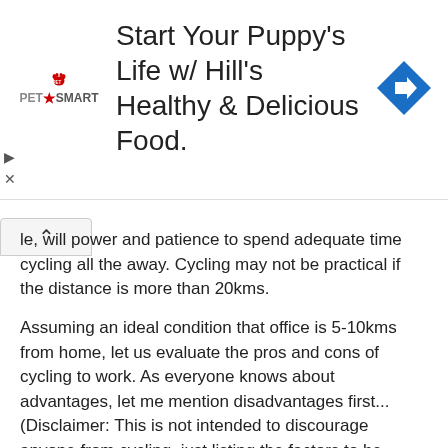[Figure (other): PetSmart advertisement banner: 'Start Your Puppy's Life w/ Hill's Healthy & Delicious Food.' with PetSmart logo and blue diamond arrow icon]
le, will power and patience to spend adequate time cycling all the away. Cycling may not be practical if the distance is more than 20kms.
Assuming an ideal condition that office is 5-10kms from home, let us evaluate the pros and cons of cycling to work. As everyone knows about advantages, let me mention disadvantages first... (Disclaimer: This is not intended to discourage anyone from cycling, just listing the factors to be aware of...)
Disadvantages:
> You'll be spending more time on the road, without the cover of a car. This means you'll inhale more polluted air than you'd have had